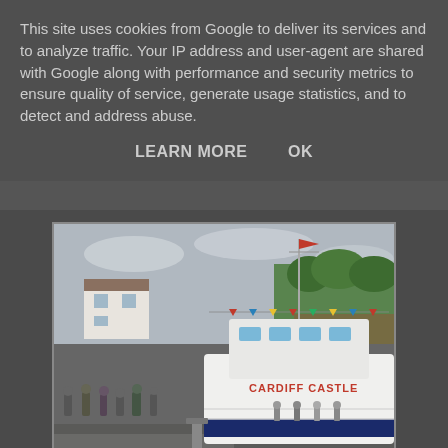This site uses cookies from Google to deliver its services and to analyze traffic. Your IP address and user-agent are shared with Google along with performance and security metrics to ensure quality of service, generate usage statistics, and to detect and address abuse.
LEARN MORE    OK
[Figure (photo): A white passenger boat named 'Cardiff Castle' docked at a quay, with passengers on deck and on the dock. Colourful bunting flags are strung across the boat. Behind is a stone building and wooded hillside under a cloudy sky.]
After last year's fabulous holiday in Dartmouth, we decided to return this year and booked our room at the Anzac Street B+Bistro as soon as the date could be fixed, then asked the